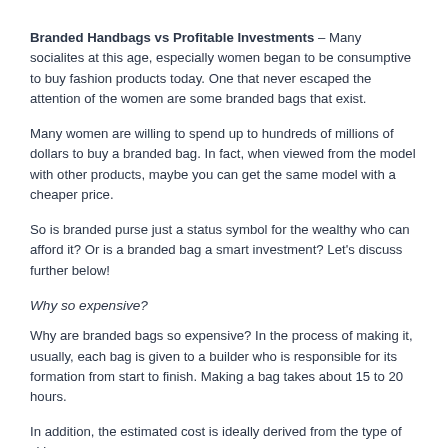Branded Handbags vs Profitable Investments – Many socialites at this age, especially women began to be consumptive to buy fashion products today. One that never escaped the attention of the women are some branded bags that exist.
Many women are willing to spend up to hundreds of millions of dollars to buy a branded bag. In fact, when viewed from the model with other products, maybe you can get the same model with a cheaper price.
So is branded purse just a status symbol for the wealthy who can afford it? Or is a branded bag a smart investment? Let's discuss further below!
Why so expensive?
Why are branded bags so expensive? In the process of making it, usually, each bag is given to a builder who is responsible for its formation from start to finish. Making a bag takes about 15 to 20 hours.
In addition, the estimated cost is ideally derived from the type of skin